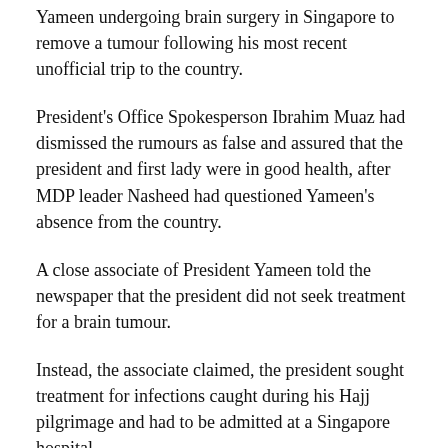Yameen undergoing brain surgery in Singapore to remove a tumour following his most recent unofficial trip to the country.
President's Office Spokesperson Ibrahim Muaz had dismissed the rumours as false and assured that the president and first lady were in good health, after MDP leader Nasheed had questioned Yameen's absence from the country.
A close associate of President Yameen told the newspaper that the president did not seek treatment for a brain tumour.
Instead, the associate claimed, the president sought treatment for infections caught during his Hajj pilgrimage and had to be admitted at a Singapore hospital.